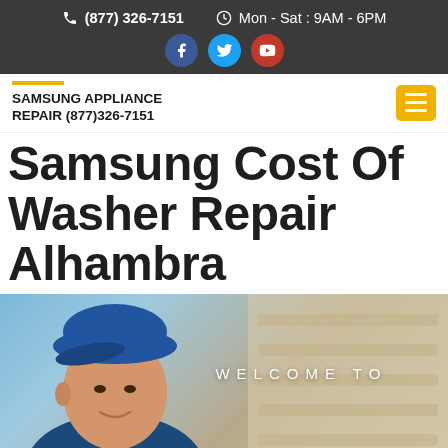(877) 326-7151   Mon - Sat : 9AM - 6PM
SAMSUNG APPLIANCE REPAIR (877)326-7151
Samsung Cost Of Washer Repair Alhambra
[Figure (photo): A technician wearing a blue cap, smiling, with a blurred background. Text overlay reads WELCOME TO.]
CLICK TO CALL